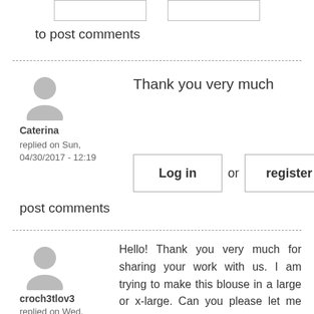[Figure (other): Two empty button boxes at top]
to post comments
Thank you very much
Caterina
replied on Sun, 04/30/2017 - 12:19
Log in or register to post comments
croch3tlov3
replied on Wed, 05/03/2017 - 15:21
Hello! Thank you very much for sharing your work with us. I am trying to make this blouse in a large or x-large. Can you please let me know how many chains I should use? Thank you!